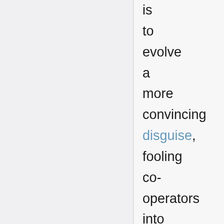is to evolve a more convincing disguise, fooling co-operators into co-operating after all. This